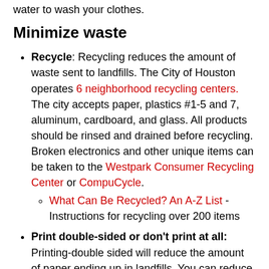water to wash your clothes.
Minimize waste
Recycle: Recycling reduces the amount of waste sent to landfills. The City of Houston operates 6 neighborhood recycling centers. The city accepts paper, plastics #1-5 and 7, aluminum, cardboard, and glass. All products should be rinsed and drained before recycling. Broken electronics and other unique items can be taken to the Westpark Consumer Recycling Center or CompuCycle.
What Can Be Recycled? An A-Z List - Instructions for recycling over 200 items
Print double-sided or don't print at all: Printing-double sided will reduce the amount of paper ending up in landfills. You can reduce printing by storing files electronically and going